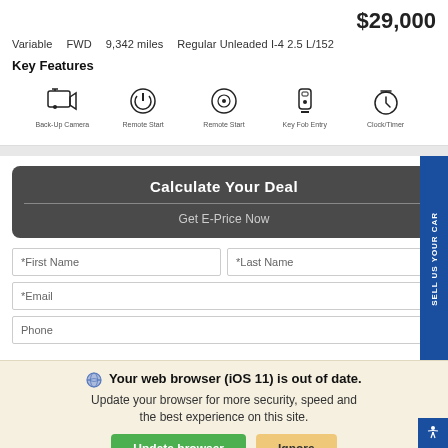$29,000
Variable   FWD   9,342 miles   Regular Unleaded I-4 2.5 L/152
Key Features
[Figure (infographic): Five feature icons: Back-Up Camera, Remote Start, Remote Start, Key Fob Entry, Clock/Timer]
[Figure (screenshot): Calculate Your Deal box with Get E-Price Now subtitle, and form fields for First Name, Last Name, Email, Phone]
Your web browser (iOS 11) is out of date. Update your browser for more security, speed and the best experience on this site.